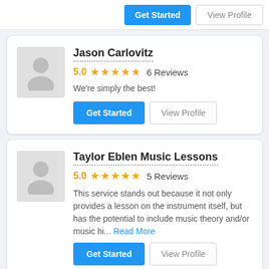Get Started | View Profile (top strip)
Jason Carlovitz
5.0 ★★★★★ 6 Reviews
We're simply the best!
Get Started | View Profile
Taylor Eblen Music Lessons
5.0 ★★★★★ 5 Reviews
This service stands out because it not only provides a lesson on the instrument itself, but has the potential to include music theory and/or music hi… Read More
Get Started | View Profile (bottom)